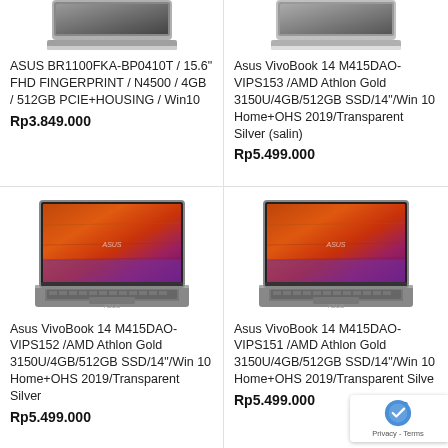[Figure (photo): Partial top view of a laptop (ASUS BR1100FKA-BP0410T) – top portion cut off]
ASUS BR1100FKA-BP0410T / 15.6" FHD FINGERPRINT / N4500 / 4GB / 512GB PCIE+HOUSING / Win10
Rp3.849.000
[Figure (photo): Partial top view of a laptop (Asus VivoBook 14 M415DAO-VIPS153) – top portion cut off]
Asus VivoBook 14 M415DAO-VIPS153 /AMD Athlon Gold 3150U/4GB/512GB SSD/14"/Win 10 Home+OHS 2019/Transparent Silver (salin)
Rp5.499.000
[Figure (photo): Grey Asus VivoBook 14 laptop open showing orange/red wallpaper on screen]
Asus VivoBook 14 M415DAO-VIPS152 /AMD Athlon Gold 3150U/4GB/512GB SSD/14"/Win 10 Home+OHS 2019/Transparent Silver
Rp5.499.000
[Figure (photo): Grey Asus VivoBook 14 laptop open showing orange/red wallpaper on screen]
Asus VivoBook 14 M415DAO-VIPS151 /AMD Athlon Gold 3150U/4GB/512GB SSD/14"/Win 10 Home+OHS 2019/Transparent Silve
Rp5.499.000